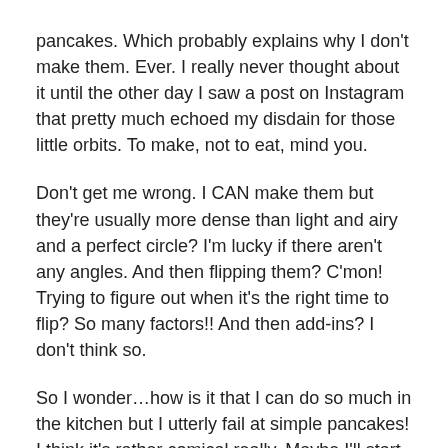pancakes. Which probably explains why I don't make them. Ever. I really never thought about it until the other day I saw a post on Instagram that pretty much echoed my disdain for those little orbits. To make, not to eat, mind you.
Don't get me wrong. I CAN make them but they're usually more dense than light and airy and a perfect circle? I'm lucky if there aren't any angles. And then flipping them? C'mon! Trying to figure out when it's the right time to flip? So many factors!! And then add-ins? I don't think so.
So I wonder…how is it that I can do so much in the kitchen but I utterly fail at simple pancakes! I think it's rather comical really. Maybe I'll start practicing.
How about you guys…is there anything that you just can't